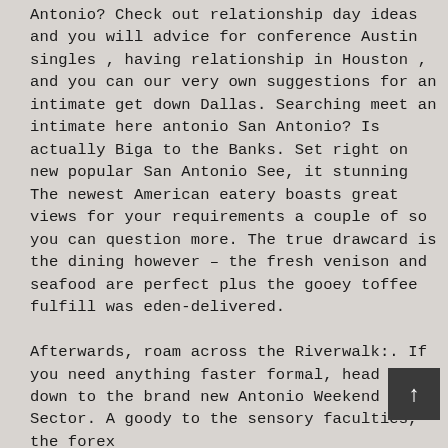Antonio? Check out relationship day ideas and you will advice for conference Austin singles , having relationship in Houston , and you can our very own suggestions for an intimate get down Dallas. Searching meet an intimate here antonio San Antonio? Is actually Biga to the Banks. Set right on new popular San Antonio See, it stunning The newest American eatery boasts great views for your requirements a couple of so you can question more. The true drawcard is the dining however – the fresh venison and seafood are perfect plus the gooey toffee fulfill was eden-delivered.

Afterwards, roam across the Riverwalk:. If you need anything faster formal, head right down to the brand new Antonio Weekend Sector. A goody to the sensory faculties, the forex